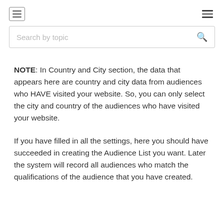Menu / Hamburger navigation header with search bar
NOTE: In Country and City section, the data that appears here are country and city data from audiences who HAVE visited your website. So, you can only select the city and country of the audiences who have visited your website.
If you have filled in all the settings, here you should have succeeded in creating the Audience List you want. Later the system will record all audiences who match the qualifications of the audience that you have created.